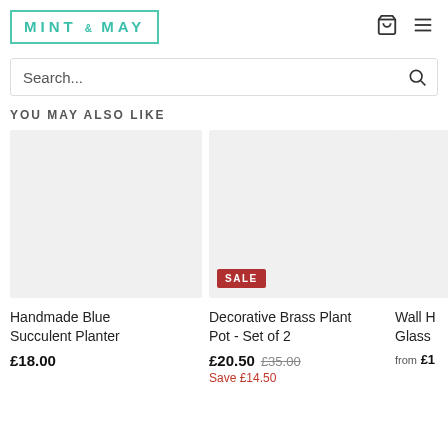[Figure (logo): Mint & May logo with teal border and teal uppercase letter-spaced text]
Search...
YOU MAY ALSO LIKE
[Figure (photo): Product image placeholder for Handmade Blue Succulent Planter (grey background)]
Handmade Blue Succulent Planter
£18.00
[Figure (photo): Product image placeholder for Decorative Brass Plant Pot - Set of 2 with SALE badge (grey background)]
Decorative Brass Plant Pot - Set of 2
£20.50  £35.00  Save £14.50
[Figure (photo): Partial product image placeholder for Wall H... Glass... (grey background, cropped)]
Wall H... Glass...
from £1...